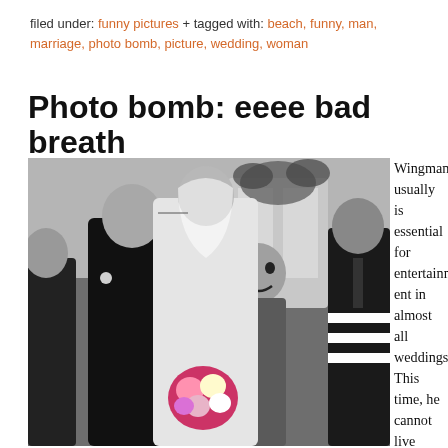filed under: funny pictures + tagged with: beach, funny, man, marriage, photo bomb, picture, wedding, woman
Photo bomb: eeee bad breath
[Figure (photo): Black and white wedding photo showing a groom and bride kissing, with a man in the background making a face (the 'photo bomb'). The bride holds a colorful bouquet. Other wedding guests visible in background on both sides.]
Wingman usually is essential for entertainment in almost all weddings. This time, he cannot live with the bad breath of the bride,